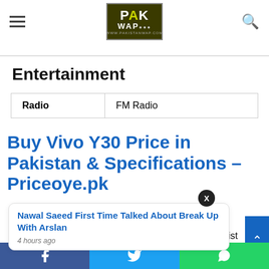PAK WAP - www.pakistanwap.com
| Radio | FM Radio |
Entertainment
Buy Vivo Y30 Price in Pakistan & Specifications – Priceoye.pk
Nawal Saeed First Time Talked About Break Up With Arslan
4 hours ago
m the price list